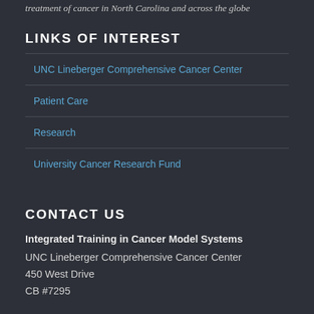treatment of cancer in North Carolina and across the globe
LINKS OF INTEREST
UNC Lineberger Comprehensive Cancer Center
Patient Care
Research
University Cancer Research Fund
CONTACT US
Integrated Training in Cancer Model Systems
UNC Lineberger Comprehensive Cancer Center
450 West Drive
CB #7295